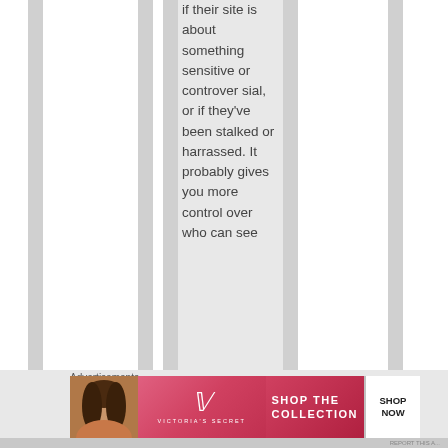if their site is about something sensitive or controversial, or if they've been stalked or harrassed. It probably gives you more control over who can see
[Figure (screenshot): Advertisement banner for Victoria's Secret featuring a woman model, VS logo, 'SHOP THE COLLECTION' text, and 'SHOP NOW' button]
Advertisements